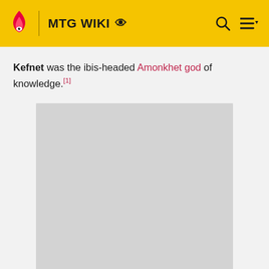MTG WIKI
Kefnet was the ibis-headed Amonkhet god of knowledge.[1]
[Figure (other): Advertisement placeholder — large light grey rectangle with 'ADVERTISEMENT' label below]